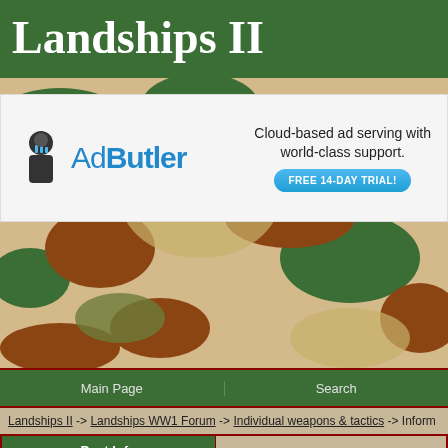Landships II
[Figure (illustration): AdButler advertisement banner with logo and 'Cloud-based ad serving with world-class support. FREE 14-DAY TRIAL!' text]
Main Page | Search
Landships II -> Landships WW1 Forum -> Individual weapons & tactics -> Inform
| Post Info |  |
| --- | --- |
| Anonymous | Information on planned German weap |